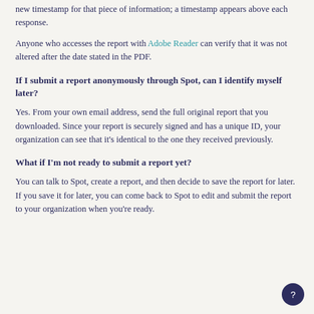new timestamp for that piece of information; a timestamp appears above each response.
Anyone who accesses the report with Adobe Reader can verify that it was not altered after the date stated in the PDF.
If I submit a report anonymously through Spot, can I identify myself later?
Yes. From your own email address, send the full original report that you downloaded. Since your report is securely signed and has a unique ID, your organization can see that it's identical to the one they received previously.
What if I'm not ready to submit a report yet?
You can talk to Spot, create a report, and then decide to save the report for later. If you save it for later, you can come back to Spot to edit and submit the report to your organization when you're ready.